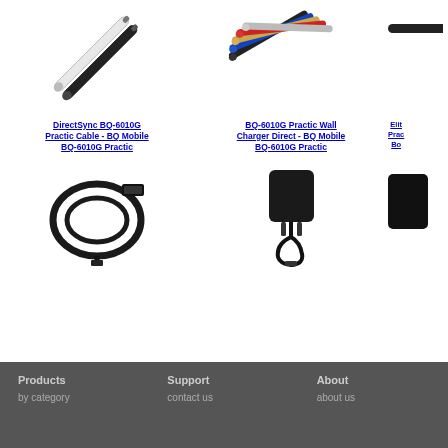[Figure (photo): Two stylus pens, one white and one black, angled diagonally]
[Figure (photo): Multiple colored mini stylus pens fanned out (black, blue, gold, red, silver)]
[Figure (photo): Partial view of a stylus or accessory on right edge]
DirectSync BQ-6010G Practic Cable - BQ Mobile BQ-6010G Practic
BQ-6010G Practic Wall Charger Direct - BQ Mobile BQ-6010G Practic
Elit... Prac... Bo...
[Figure (photo): Black USB micro cable coiled]
[Figure (photo): Black wall charger with US plug]
[Figure (photo): Partial view of a black charger on right edge]
Products  Support  About  |  by category  contact us  about us